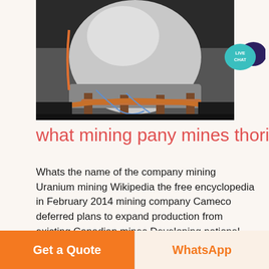[Figure (photo): Industrial equipment - large spherical/dome-shaped metal tank or vessel mounted on a metal frame/stand in a dark industrial setting, with cables/wires visible]
[Figure (other): Live Chat badge - teal speech bubble with white text 'LIVE CHAT' and dark purple chat bubble icon]
what mining pany mines thorium c
Whats the name of the company mining Uranium mining Wikipedia the free encyclopedia in February 2014 mining company Cameco deferred plans to expand production from existing Canadian mines Developing national mining policies in Chile Printed in Great Britain 0301 420797 17 00 0 00 Developing national mining to
Get a Quote
WhatsApp